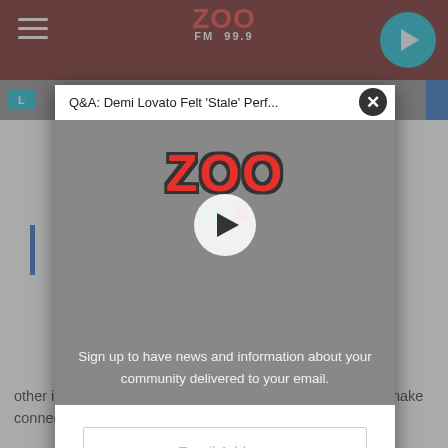[Figure (screenshot): Website screenshot showing a radio station page (Zoo FM) with a video popup overlay. The popup has a title bar reading 'Q&A: Demi Lovato Felt Stale Perf...', a video thumbnail with Zoo logo and play button, a newsletter signup section, an email input field, and a 'Like Us On Facebook' button. Behind the popup, partial article text is visible.]
Q&A: Demi Lovato Felt 'Stale' Perf...
Sign up to have news and information about your community delivered to your email.
Email Address
Like Us On Facebook
other information. However, the Beyhive quickly started to make connections to Beyonce based on the colors and fonts